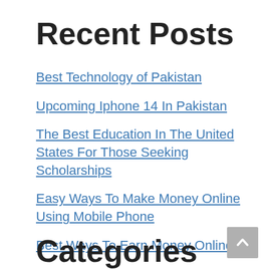Recent Posts
Best Technology of Pakistan
Upcoming Iphone 14 In Pakistan
The Best Education In The United States For Those Seeking Scholarships
Easy Ways To Make Money Online Using Mobile Phone
Best Ways To Earn Money Online
Categories